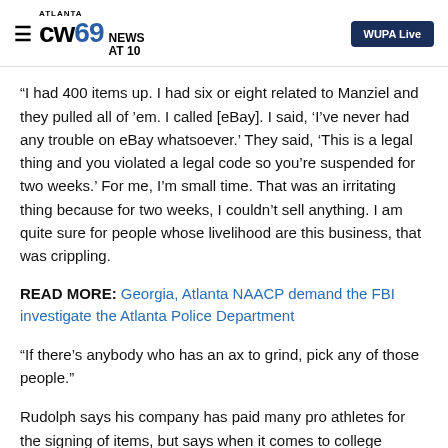ATLANTA CW69 NEWS AT 10 | WUPA Live
“I had 400 items up. I had six or eight related to Manziel and they pulled all of ’em. I called [eBay]. I said, ‘I’ve never had any trouble on eBay whatsoever.’ They said, ‘This is a legal thing and you violated a legal code so you’re suspended for two weeks.’ For me, I’m small time. That was an irritating thing because for two weeks, I couldn’t sell anything. I am quite sure for people whose livelihood are this business, that was crippling.
READ MORE: Georgia, Atlanta NAACP demand the FBI investigate the Atlanta Police Department
“If there’s anybody who has an ax to grind, pick any of those people.”
Rudolph says his company has paid many pro athletes for the signing of items, but says when it comes to college